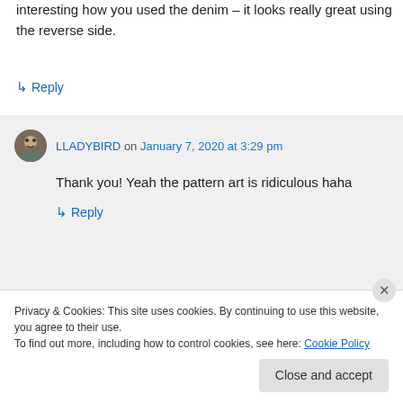interesting how you used the denim – it looks really great using the reverse side.
↳ Reply
LLADYBIRD on January 7, 2020 at 3:29 pm
Thank you! Yeah the pattern art is ridiculous haha
↳ Reply
Privacy & Cookies: This site uses cookies. By continuing to use this website, you agree to their use.
To find out more, including how to control cookies, see here: Cookie Policy
Close and accept